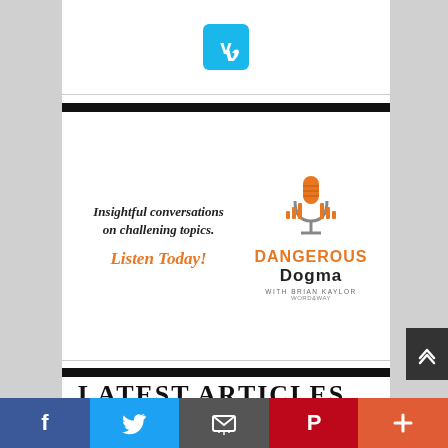[Figure (logo): Vimeo logo icon (cyan/blue square with white V)]
[Figure (illustration): Dangerous Dogma podcast advertisement: 'Insightful conversations on challening topics. Listen Today!' with orange microphone graphic and DANGEROUS Dogma with Brian Kaylor logo]
LATEST ARTICLES
Review: What Do We Do When Nobody Is
[Figure (infographic): Social media sharing bar with Facebook, Twitter, Email, Pinterest, and Plus buttons. Dark scroll-up arrow button on right.]